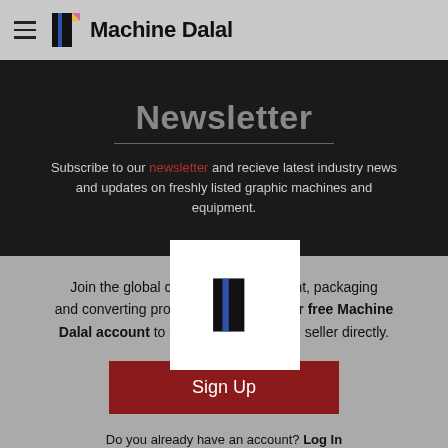Machine Dalal
Newsletter
Subscribe to our newsletter and recieve latest industry news and updates on freshly listed graphic machines and equipment.
Join the global community of the print, packaging and converting professionals. Create your free Machine Dalal account to communicate with the seller directly.
Sign Up
Do you already have an account? Log In